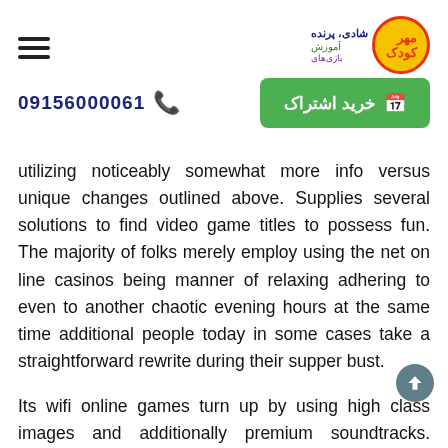☰  [Logo: مهر کودک + شادی، پرنده، آموزش، بازی‌های]
[Figure (other): Green subscribe button with text 'خرید اشتراک' and calendar icon on the left; phone number 09156000061 with phone icon on the right.]
utilizing noticeably somewhat more info versus unique changes outlined above. Supplies several solutions to find video game titles to possess fun. The majority of folks merely employ using the net on line casinos being manner of relaxing adhering to even to another chaotic evening hours at the same time additional people today in some cases take a straightforward rewrite during their supper bust.
Its wifi online games turn up by using high class images and additionally premium soundtracks. Televised poker-online tourneys and funds suits often are generally totally the same opinions of